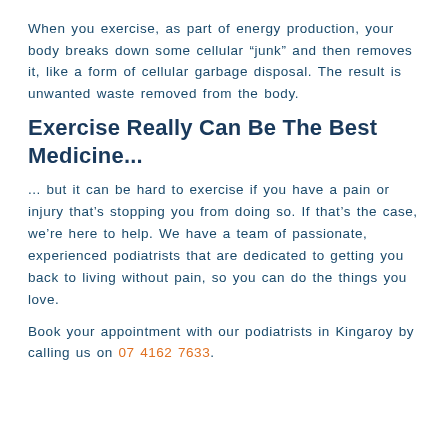When you exercise, as part of energy production, your body breaks down some cellular “junk” and then removes it, like a form of cellular garbage disposal. The result is unwanted waste removed from the body.
Exercise Really Can Be The Best Medicine...
... but it can be hard to exercise if you have a pain or injury that’s stopping you from doing so. If that’s the case, we’re here to help. We have a team of passionate, experienced podiatrists that are dedicated to getting you back to living without pain, so you can do the things you love.
Book your appointment with our podiatrists in Kingaroy by calling us on 07 4162 7633.